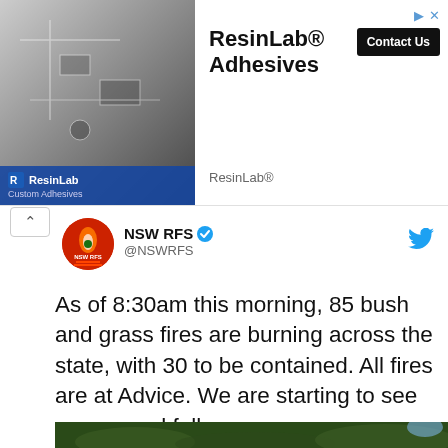[Figure (photo): ResinLab advertisement banner with logo, product image of electronics/circuit board, headline 'ResinLab® Adhesives', and 'Contact Us' button]
[Figure (logo): NSW RFS circular red logo with flame/leaf motif and 'NSW RFS' text]
NSW RFS @NSWRFS
As of 8:30am this morning, 85 bush and grass fires are burning across the state, with 30 to be contained. All fires are at Advice. We are starting to see some good falls across some firegrounds. Lets hope some of our farmers are also getting some moisture. #nswrfs #nswfires
[Figure (photo): Partial photo at bottom showing dark green landscape/bush scene]